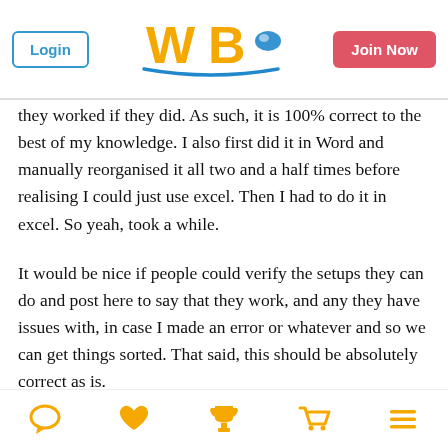Login | WBO logo | Join Now
they worked if they did. As such, it is 100% correct to the best of my knowledge. I also first did it in Word and manually reorganised it all two and a half times before realising I could just use excel. Then I had to do it in excel. So yeah, took a while.
It would be nice if people could verify the setups they can do and post here to say that they work, and any they have issues with, in case I made an error or whatever and so we can get things sorted. That said, this should be absolutely correct as is.
ONLY post issues if you have the parts or an EXTREMELY good source that disagrees. Beywiki does not count as it is riddled with misinformation in this aspect, due to the lack of specificity in the Beyoerce V2 Articles at and with the
[icons: chat, heart, trophy, cart, menu]